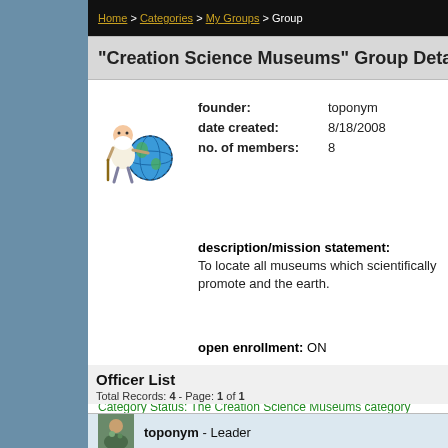Home > Categories > My Groups > Group
"Creation Science Museums" Group Detail
founder: toponym
date created: 8/18/2008
no. of members: 8
description/mission statement: To locate all museums which scientifically promote and the earth.
open enrollment: ON
Category Status: The Creation Science Museums category has be
Officer List
Total Records: 4 - Page: 1 of 1
toponym - Leader